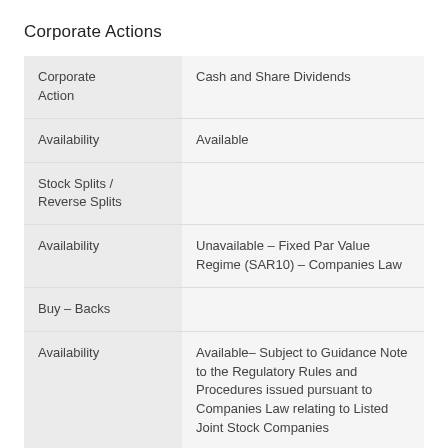Corporate Actions
|  |  |
| --- | --- |
| Corporate Action | Cash and Share Dividends |
| Availability | Available |
| Stock Splits / Reverse Splits |  |
| Availability | Unavailable – Fixed Par Value Regime (SAR10) – Companies Law |
| Buy – Backs |  |
| Availability | Available– Subject to Guidance Note to the Regulatory Rules and Procedures issued pursuant to Companies Law relating to Listed Joint Stock Companies |
| Mergers / Acquisitions |  |